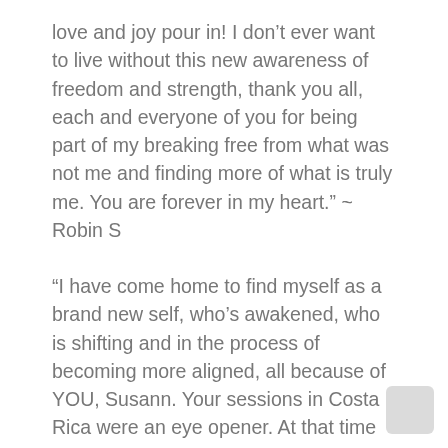love and joy pour in! I don't ever want to live without this new awareness of freedom and strength, thank you all, each and everyone of you for being part of my breaking free from what was not me and finding more of what is truly me. You are forever in my heart." ~ Robin S
"I have come home to find myself as a brand new self, who's awakened, who is shifting and in the process of becoming more aligned, all because of YOU, Susann. Your sessions in Costa Rica were an eye opener. At that time so much to soak in that I wasn't aware how it would impact my life. Now that I'm settling back into my routine, there's not an hour that has passed and I haven't thought of you, Costa Rica and my new Family. I love and cherish it all, especially the teachings that impact my life on a fresh and energizing level." ~ Gulnor